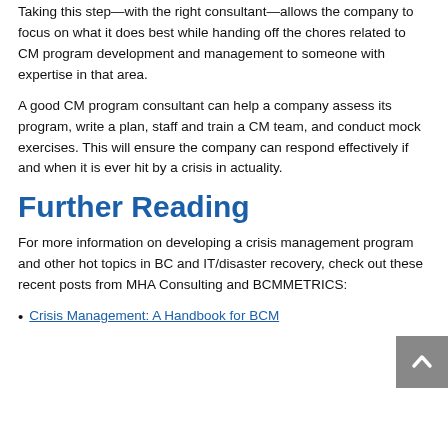Taking this step—with the right consultant—allows the company to focus on what it does best while handing off the chores related to CM program development and management to someone with expertise in that area.
A good CM program consultant can help a company assess its program, write a plan, staff and train a CM team, and conduct mock exercises. This will ensure the company can respond effectively if and when it is ever hit by a crisis in actuality.
Further Reading
For more information on developing a crisis management program and other hot topics in BC and IT/disaster recovery, check out these recent posts from MHA Consulting and BCMMETRICS:
Crisis Management: A Handbook for BCM